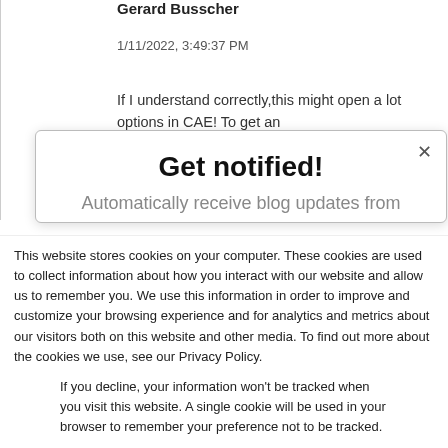Gerard Busscher
1/11/2022, 3:49:37 PM
If I understand correctly,this might open a lot options in CAE! To get an
Get notified!
Automatically receive blog updates from
This website stores cookies on your computer. These cookies are used to collect information about how you interact with our website and allow us to remember you. We use this information in order to improve and customize your browsing experience and for analytics and metrics about our visitors both on this website and other media. To find out more about the cookies we use, see our Privacy Policy.
If you decline, your information won't be tracked when you visit this website. A single cookie will be used in your browser to remember your preference not to be tracked.
Accept
Decline